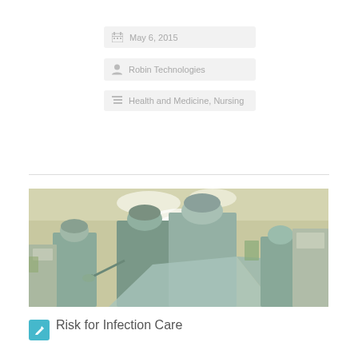May 6, 2015
Robin Technologies
Health and Medicine, Nursing
[Figure (photo): Surgery operating room scene with medical staff in scrubs and gowns performing a surgical procedure under bright lights]
Risk for Infection Care